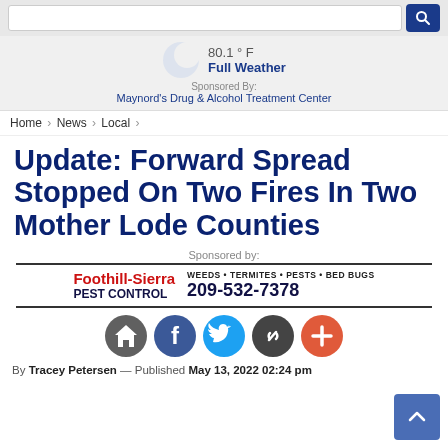80.1 ° F  Full Weather — Sponsored By: Maynord's Drug & Alcohol Treatment Center
Home > News > Local >
Update: Forward Spread Stopped On Two Fires In Two Mother Lode Counties
Sponsored by:
[Figure (logo): Foothill-Sierra Pest Control advertisement: WEEDS • TERMITES • PESTS • BED BUGS, 209-532-7378]
[Figure (infographic): Social sharing icons row: home/KCRA icon (gray), Facebook (blue), Twitter (blue), chain link (dark gray), plus/more (orange-red)]
By Tracey Petersen — Published May 13, 2022 02:24 pm